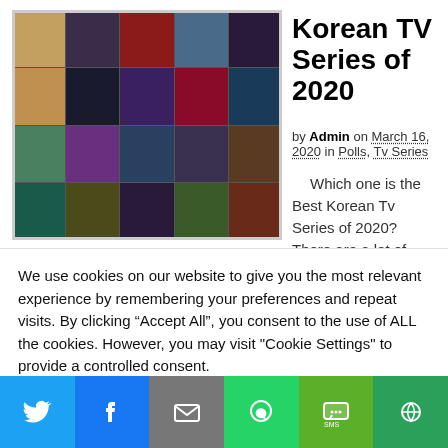[Figure (photo): Collage of Korean TV series posters from 2020, arranged in a grid]
Korean TV Series of 2020
by Admin on March 16, 2020 in Polls, Tv Series
Which one is the Best Korean Tv Series of 2020? There are a lot of
We use cookies on our website to give you the most relevant experience by remembering your preferences and repeat visits. By clicking “Accept All”, you consent to the use of ALL the cookies. However, you may visit "Cookie Settings" to provide a controlled consent.
[Figure (infographic): Social sharing bar with Twitter, Facebook, Email, WhatsApp, SMS, and More buttons]